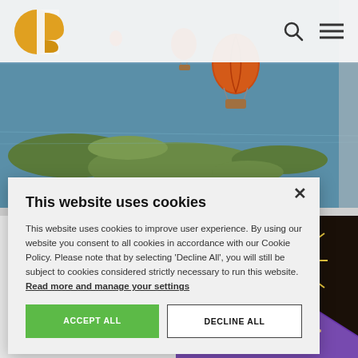[Figure (screenshot): Website header with yellow/gold logo (stylized 'd' letter), search icon, and hamburger menu icon on a light grey background]
[Figure (photo): Aerial photo of hot air balloons over wetlands/islands with blue water]
Mission
[Figure (photo): Fireworks photo on dark background with festival tent at bottom]
This website uses cookies
This website uses cookies to improve user experience. By using our website you consent to all cookies in accordance with our Cookie Policy. Please note that by selecting 'Decline All', you will still be subject to cookies considered strictly necessary to run this website. Read more and manage your settings
ACCEPT ALL
DECLINE ALL